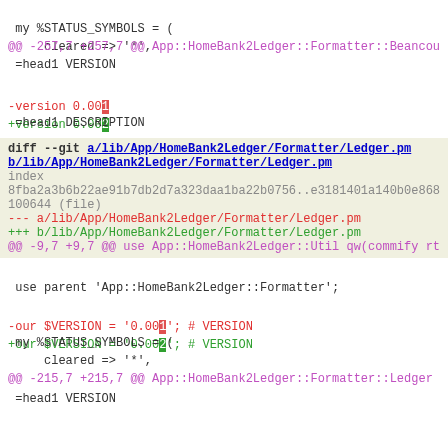my %STATUS_SYMBOLS = (
     cleared => '*',
@@ -257,7 +257,7 @@ App::HomeBank2Ledger::Formatter::Beancou
=head1 VERSION
-version 0.001
+version 0.002
=head1 DESCRIPTION
diff --git a/lib/App/HomeBank2Ledger/Formatter/Ledger.pm b/lib/App/HomeBank2Ledger/Formatter/Ledger.pm
index
8fba2a3b6b22ae91b7db2d7a323daa1ba22b0756..e3181401a140b0e868
100644 (file)
--- a/lib/App/HomeBank2Ledger/Formatter/Ledger.pm
+++ b/lib/App/HomeBank2Ledger/Formatter/Ledger.pm
@@ -9,7 +9,7 @@ use App::HomeBank2Ledger::Util qw(commify rt
use parent 'App::HomeBank2Ledger::Formatter';
-our $VERSION = '0.001'; # VERSION
+our $VERSION = '0.002'; # VERSION
my %STATUS_SYMBOLS = (
     cleared => '*',
@@ -215,7 +215,7 @@ App::HomeBank2Ledger::Formatter::Ledger
=head1 VERSION